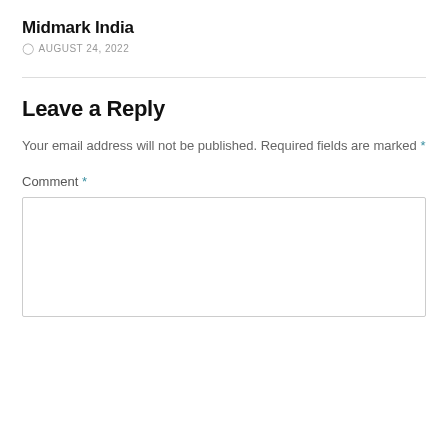Midmark India
AUGUST 24, 2022
Leave a Reply
Your email address will not be published. Required fields are marked *
Comment *